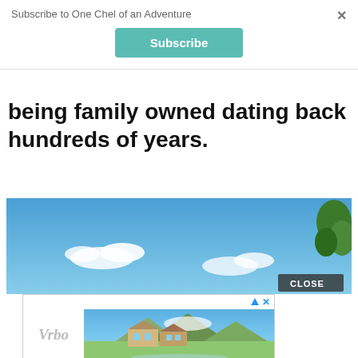Subscribe to One Chel of an Adventure
being family owned dating back hundreds of years.
[Figure (photo): Outdoor photo showing blue sky with white clouds and green trees on the right side, with a landscape visible at the bottom. Has a CLOSE button overlay.]
[Figure (photo): Vrbo advertisement showing a mountain house/cabin with green meadow and mountains in background. Has play/close icons at top right.]